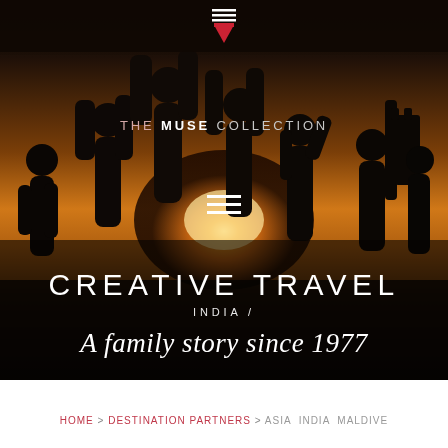[Figure (photo): Hero image showing silhouettes of people with raised arms against a warm sunset/orange sky background]
THE MUSE COLLECTION
[Figure (other): Hamburger menu icon (three horizontal white lines)]
CREATIVE TRAVEL
INDIA /
A family story since 1977
HOME > DESTINATION PARTNERS > ASIA  INDIA  MALDIVE